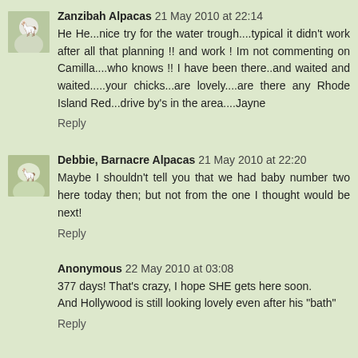Zanzibah Alpacas 21 May 2010 at 22:14
He He...nice try for the water trough....typical it didn't work after all that planning !! and work ! Im not commenting on Camilla....who knows !! I have been there..and waited and waited.....your chicks...are lovely....are there any Rhode Island Red...drive by's in the area....Jayne
Reply
Debbie, Barnacre Alpacas 21 May 2010 at 22:20
Maybe I shouldn't tell you that we had baby number two here today then; but not from the one I thought would be next!
Reply
Anonymous 22 May 2010 at 03:08
377 days! That's crazy, I hope SHE gets here soon.
And Hollywood is still looking lovely even after his "bath"
Reply